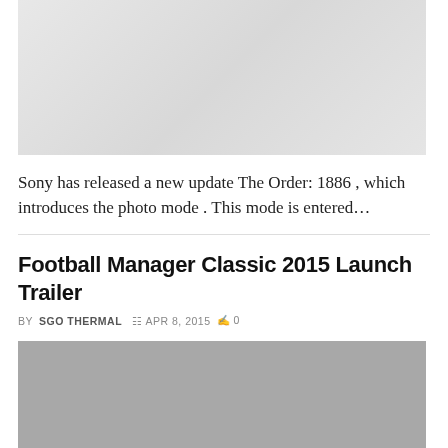[Figure (photo): Partially visible light gray image, appears to be a game screenshot or promotional image (top portion cropped)]
Sony has released a new update The Order: 1886 , which introduces the photo mode . This mode is entered…
Football Manager Classic 2015 Launch Trailer
BY SGOTHERMAL  APR 8, 2015  0
[Figure (photo): Gray placeholder image for Football Manager Classic 2015 Launch Trailer article]